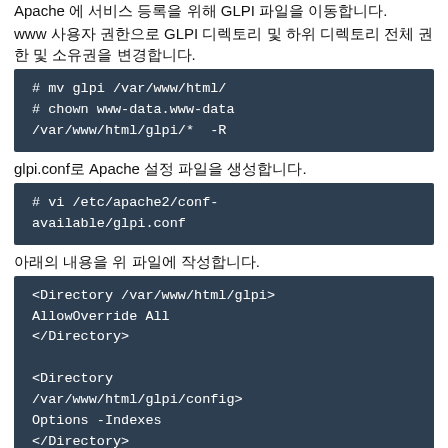Apache 에 서비스 등록을 위해 GLPI 파일을 이동합니다.
www 사용자 권한으로 GLPI 디렉토리 및 하위 디렉토리 전체 권한 및 소유권을 변경합니다.
# mv glpi /var/www/html/
# chown www-data.www-data /var/www/html/glpi/* -R
glpi.conf로 Apache 설정 파일을 생성합니다.
# vi /etc/apache2/conf-available/glpi.conf
아래의 내용을 위 파일에 작성합니다.
<Directory /var/www/html/glpi>
AllowOverride All
</Directory>

<Directory /var/www/html/glpi/config>
Options -Indexes
</Directory>

<Directory /var/www/html/glpi/files>
Options -Indexes